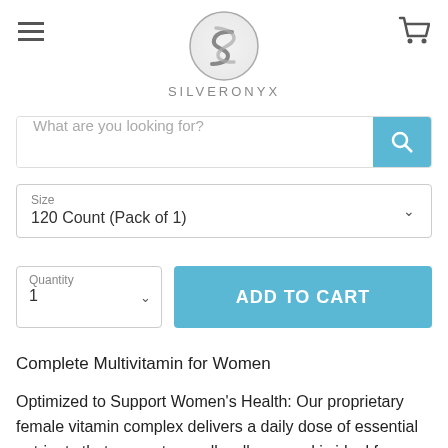[Figure (logo): SilverOnyx logo — stylized silver S emblem above the text SILVERONYX in spaced gray caps]
What are you looking for?
Size
120 Count (Pack of 1)
Quantity
1
ADD TO CART
Complete Multivitamin for Women
Optimized to Support Women's Health: Our proprietary female vitamin complex delivers a daily dose of essential nutrients that support overall wellness and is ideal for women who are